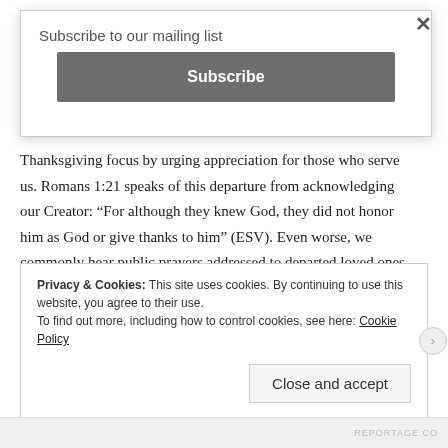Subscribe to our mailing list
Subscribe
Thanksgiving focus by urging appreciation for those who serve us. Romans 1:21 speaks of this departure from acknowledging our Creator: “For although they knew God, they did not honor him as God or give thanks to him” (ESV). Even worse, we commonly hear public prayers addressed to departed loved ones instead of to God, in the name of the One who rose from the dead.
Privacy & Cookies: This site uses cookies. By continuing to use this website, you agree to their use.
To find out more, including how to control cookies, see here: Cookie Policy
Close and accept